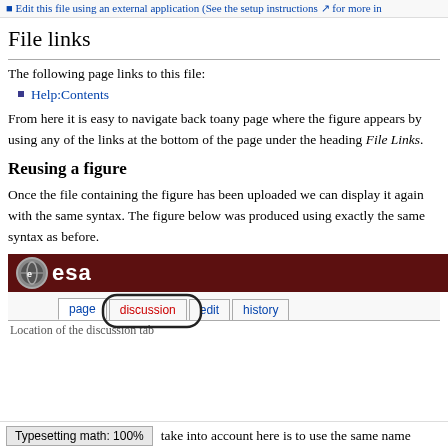Edit this file using an external application (See the setup instructions for more in
File links
The following page links to this file:
Help:Contents
From here it is easy to navigate back to any page where the figure appears by using any of the links at the bottom of the page under the heading File Links.
Reusing a figure
Once the file containing the figure has been uploaded we can display it again with the same syntax. The figure below was produced using exactly the same syntax as before.
[Figure (screenshot): ESA banner (dark red background with ESA logo) and a Wikipedia-style tab bar showing page, discussion (circled), edit, history tabs. Caption: Location of the discussion tab]
Location of the discussion tab
take into account here is to use the same name